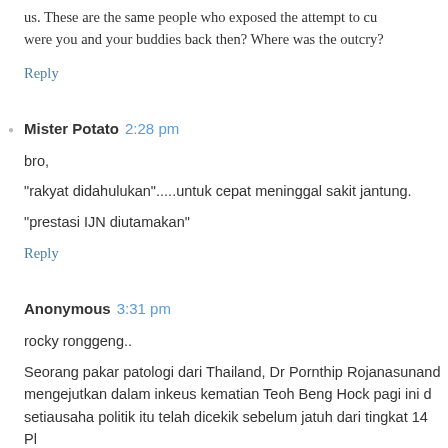us. These are the same people who exposed the attempt to cu were you and your buddies back then? Where was the outcry?
Reply
Mister Potato  2:28 pm
bro,
"rakyat didahulukan".....untuk cepat meninggal sakit jantung.
"prestasi IJN diutamakan"
Reply
Anonymous  3:31 pm
rocky ronggeng..
Seorang pakar patologi dari Thailand, Dr Pornthip Rojanasunand mengejutkan dalam inkeus kematian Teoh Beng Hock pagi ini d setiausaha politik itu telah dicekik sebelum jatuh dari tingkat 14 Pl
Katanya, terdapat tanda bulat pada leher Teoh yang menunjukkan
Menurutnya lagi, retakan pada tengkorak Teoh bukan satu kecede